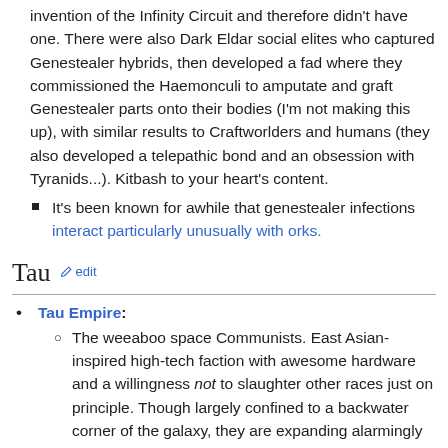invention of the Infinity Circuit and therefore didn't have one. There were also Dark Eldar social elites who captured Genestealer hybrids, then developed a fad where they commissioned the Haemonculi to amputate and graft Genestealer parts onto their bodies (I'm not making this up), with similar results to Craftworlders and humans (they also developed a telepathic bond and an obsession with Tyranids...). Kitbash to your heart's content.
It's been known for awhile that genestealer infections interact particularly unusually with orks.
Tau
Tau Empire:
The weeaboo space Communists. East Asian-inspired high-tech faction with awesome hardware and a willingness not to slaughter other races just on principle. Though largely confined to a backwater corner of the galaxy, they are expanding alarmingly rapidly on their